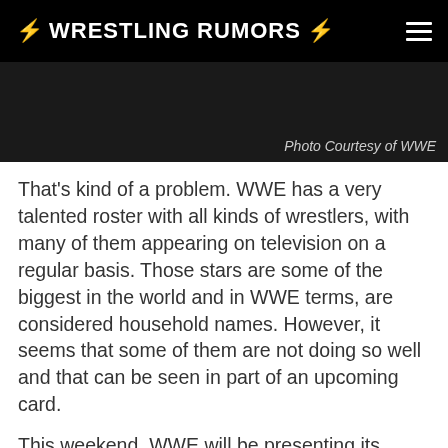WRESTLING RUMORS
Photo Courtesy of WWE
That’s kind of a problem. WWE has a very talented roster with all kinds of wrestlers, with many of them appearing on television on a regular basis. Those stars are some of the biggest in the world and in WWE terms, are considered household names. However, it seems that some of them are not doing so well and that can be seen in part of an upcoming card.
This weekend, WWE will be presenting its annual Hell In A Cell pay per view. Coming into this